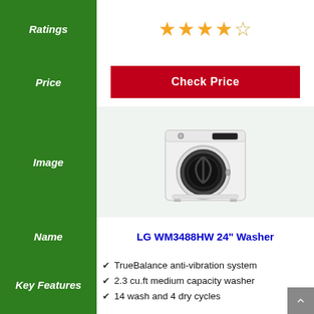Ratings
[Figure (other): 4.5 out of 5 stars rating with 4 filled gold stars and 1 half/empty star]
Price
Check Price
Image
[Figure (photo): LG WM3488HW front-load washer/dryer combo, white with black circular door, control panel on top right]
Name
LG WM3488HW 24" Washer
Key Features
TrueBalance anti-vibration system
2.3 cu.ft medium capacity washer
14 wash and 4 dry cycles